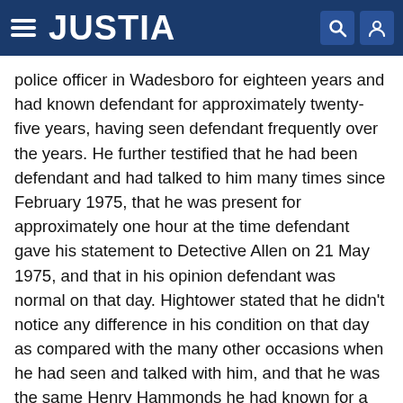JUSTIA
police officer in Wadesboro for eighteen years and had known defendant for approximately twenty-five years, having seen defendant frequently over the years. He further testified that he had been defendant and had talked to him many times since February 1975, that he was present for approximately one hour at the time defendant gave his statement to Detective Allen on 21 May 1975, and that in his opinion defendant was normal on that day. Hightower stated that he didn't notice any difference in his condition on that day as compared with the many other occasions when he had seen and talked with him, and that he was the same Henry Hammonds he had known for a long time.
A motion for a directed verdict of not guilty has the same effect as a motion for nonsuit. State v. Britt, 285 N.C. 256, 204 S.E.2d 817 (1974); State v. Glover, 270 N.C.